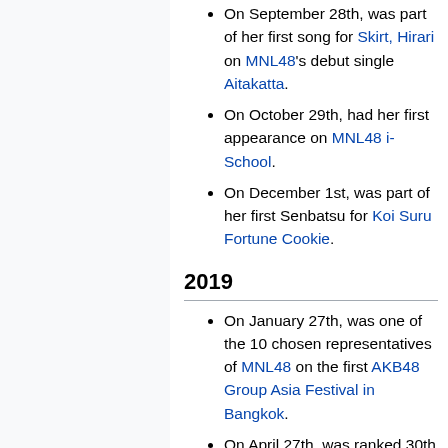On September 28th, was part of her first song for Skirt, Hirari on MNL48's debut single Aitakatta.
On October 29th, had her first appearance on MNL48 i-School.
On December 1st, was part of her first Senbatsu for Koi Suru Fortune Cookie.
2019
On January 27th, was one of the 10 chosen representatives of MNL48 on the first AKB48 Group Asia Festival in Bangkok.
On April 27th, was ranked 30th in MNL48's 2nd General Election.
2020
She was part of Team L's Shonichi of MNL48's 1st Stage on February 1st.